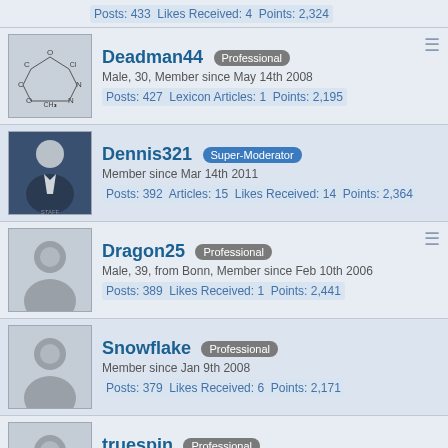Posts: 433  Likes Received: 4  Points: 2,324
Deadman44 Professional — Male, 30, Member since May 14th 2008 — Posts: 427  Lexicon Articles: 1  Points: 2,195
Dennis321 Super-Moderator — Member since Mar 14th 2011 — Posts: 392  Articles: 15  Likes Received: 14  Points: 2,364
Dragon25 Professional — Male, 39, from Bonn, Member since Feb 10th 2006 — Posts: 389  Likes Received: 1  Points: 2,441
Snowflake Professional — Member since Jan 9th 2008 — Posts: 379  Likes Received: 6  Points: 2,171
truespin Professional — Male, from Eggenfelden, Member since Dec 5th 2006 — Posts: 378  Likes Received: 1  Points: 2,196
Fragz Professional — Male, 36, from Neuss, Member since Oct 7th 2009 — Posts: 349  Points: 2,225